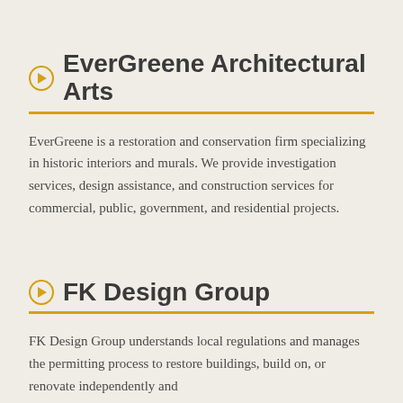EverGreene Architectural Arts
EverGreene is a restoration and conservation firm specializing in historic interiors and murals. We provide investigation services, design assistance, and construction services for commercial, public, government, and residential projects.
FK Design Group
FK Design Group understands local regulations and manages the permitting process to restore buildings, build on, or renovate independently and